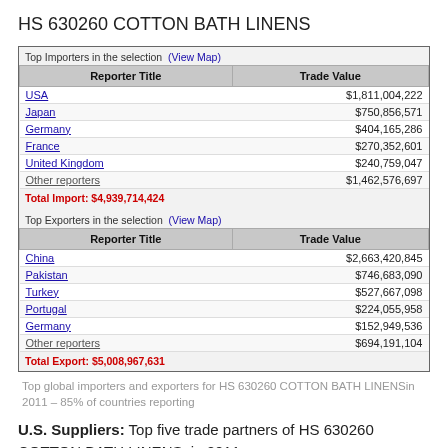HS 630260 COTTON BATH LINENS
| Reporter Title | Trade Value |
| --- | --- |
| USA | $1,811,004,222 |
| Japan | $750,856,571 |
| Germany | $404,165,286 |
| France | $270,352,601 |
| United Kingdom | $240,759,047 |
| Other reporters | $1,462,576,697 |
| Reporter Title | Trade Value |
| --- | --- |
| China | $2,663,420,845 |
| Pakistan | $746,683,090 |
| Turkey | $527,667,098 |
| Portugal | $224,055,958 |
| Germany | $152,949,536 |
| Other reporters | $694,191,104 |
Top global importers and exporters for HS 630260 COTTON BATH LINENSin 2011 – 85% of countries reporting
U.S. Suppliers: Top five trade partners of HS 630260 COTTON BATH LINENS, in 2011